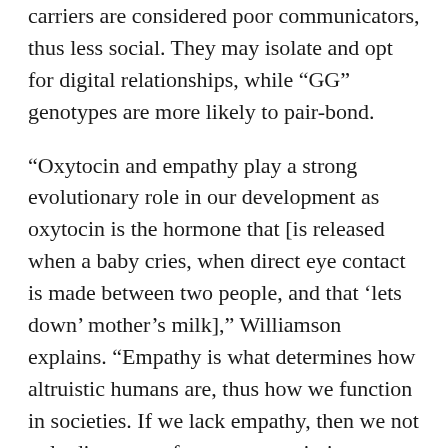carriers are considered poor communicators, thus less social. They may isolate and opt for digital relationships, while “GG” genotypes are more likely to pair-bond.
“Oxytocin and empathy play a strong evolutionary role in our development as oxytocin is the hormone that [is released when a baby cries, when direct eye contact is made between two people, and that ‘lets down’ mother’s milk],” Williamson explains. “Empathy is what determines how altruistic humans are, thus how we function in societies. If we lack empathy, then we not only disconnect from our most intimate relationships, but also from greater connections as a whole. Those with lower levels of oxytocin theoretically would be more likely to prefer VR partners, sex dolls and disconnected relationships.”
David Buss, founder of Evolutionary Psychology and Buss Lab at The University of Texas at Austin, reinforces this: How we use sex tech could in part be